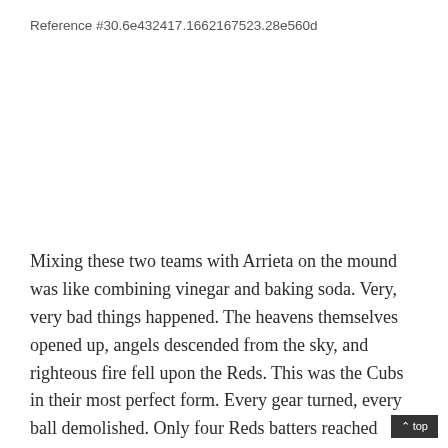Reference #30.6e432417.1662167523.28e560d
Mixing these two teams with Arrieta on the mound was like combining vinegar and baking soda. Very, very bad things happened. The heavens themselves opened up, angels descended from the sky, and righteous fire fell upon the Reds. This was the Cubs in their most perfect form. Every gear turned, every ball demolished. Only four Reds batters reached base, all on walks issued by Arrieta.